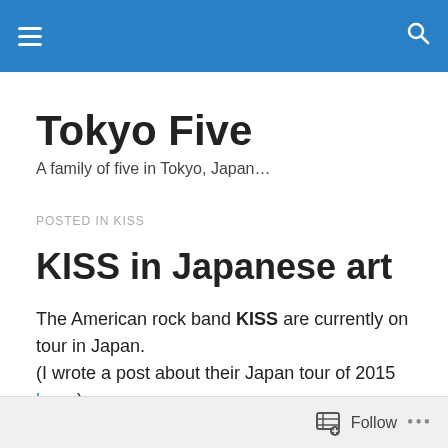Tokyo Five [navigation bar]
Tokyo Five
A family of five in Tokyo, Japan…
POSTED IN KISS
KISS in Japanese art
The American rock band KISS are currently on tour in Japan.
(I wrote a post about their Japan tour of 2015 here.)
Follow ...